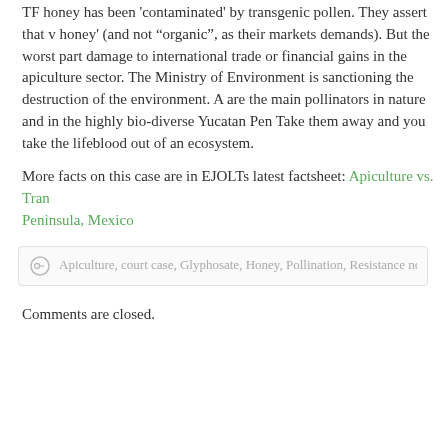TF honey has been 'contaminated' by transgenic pollen. They assert that v honey' (and not "organic", as their markets demands). But the worst part damage to international trade or financial gains in the apiculture sector. The Ministry of Environment is sanctioning the destruction of the environment. A are the main pollinators in nature and in the highly bio-diverse Yucatan Pen Take them away and you take the lifeblood out of an ecosystem.
More facts on this case are in EJOLTs latest factsheet: Apiculture vs. Transgenic Soy in the Yucatan Peninsula, Mexico
Apiculture, court case, Glyphosate, Honey, Pollination, Resistance network, Transgenic
Comments are closed.